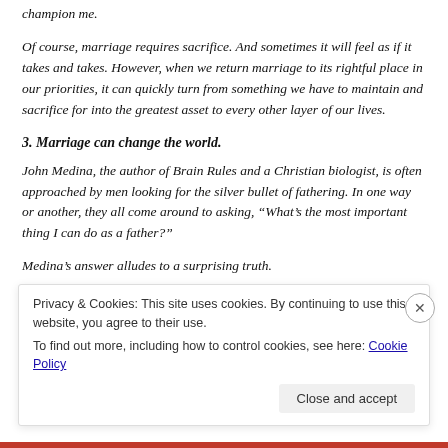champion me.
Of course, marriage requires sacrifice. And sometimes it will feel as if it takes and takes. However, when we return marriage to its rightful place in our priorities, it can quickly turn from something we have to maintain and sacrifice for into the greatest asset to every other layer of our lives.
3. Marriage can change the world.
John Medina, the author of Brain Rules and a Christian biologist, is often approached by men looking for the silver bullet of fathering. In one way or another, they all come around to asking, “What’s the most important thing I can do as a father?”
Medina’s answer alludes to a surprising truth.
Privacy & Cookies: This site uses cookies. By continuing to use this website, you agree to their use.
To find out more, including how to control cookies, see here: Cookie Policy